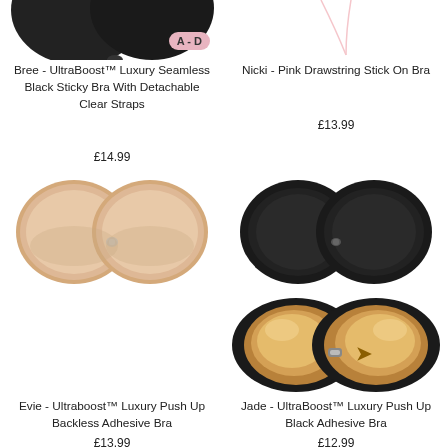[Figure (photo): Partial top view of black seamless sticky bra with size badge A-D]
[Figure (photo): Partial top view of pink drawstring stick on bra]
Bree - UltraBoost™ Luxury Seamless Black Sticky Bra With Detachable Clear Straps
Nicki - Pink Drawstring Stick On Bra
£14.99
£13.99
[Figure (photo): Nude/beige backless adhesive bra - front view]
[Figure (photo): Black adhesive bra - front view]
[Figure (photo): Gold/nude push up backless adhesive bra with A-D size badge]
[Figure (photo): Black and gold push up adhesive bra with A-D size badge]
Evie - Ultraboost™ Luxury Push Up Backless Adhesive Bra
Jade - UltraBoost™ Luxury Push Up Black Adhesive Bra
£13.99
£12.99